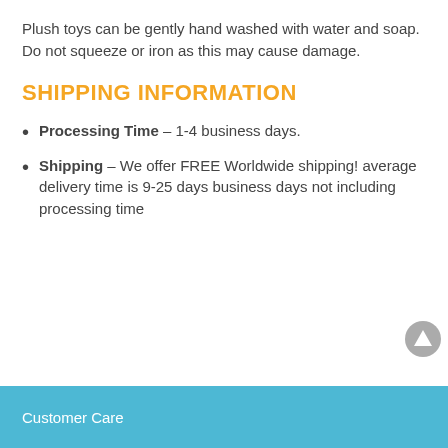Plush toys can be gently hand washed with water and soap. Do not squeeze or iron as this may cause damage.
SHIPPING INFORMATION
Processing Time – 1-4 business days.
Shipping – We offer FREE Worldwide shipping! average delivery time is 9-25 days business days not including processing time
Customer Care